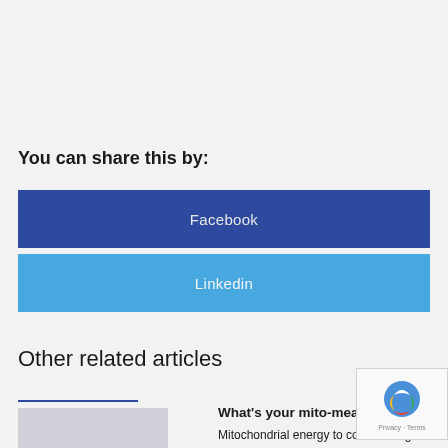You can share this by:
Facebook
Linkedin
Other related articles
What's your mito-measure?
Mitochondrial energy to combat fatigue.